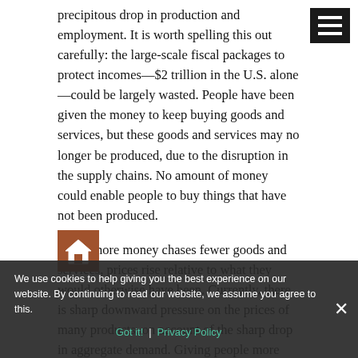precipitous drop in production and employment. It is worth spelling this out carefully: the large-scale fiscal packages to protect incomes—$2 trillion in the U.S. alone—could be largely wasted. People have been given the money to keep buying goods and services, but these goods and services may no longer be produced, due to the disruption in the supply chains. No amount of money could enable people to buy things that have not been produced.
When more money chases fewer goods and services, prices rise relative to what they would otherwise have been. Currently, there is sharp downward pressure on the prices of many products, on account of the sharp drop in aggregate demand. Giving people more money without changing production capacity merely means that this downward pressure on prices is negated. When the G-20 countries pledged $5 trillion in a united response to the coronavirus crisis
We use cookies to help giving you the best experience on our website. By continuing to read our website, we assume you agree to this.
Got it! | Privacy Policy